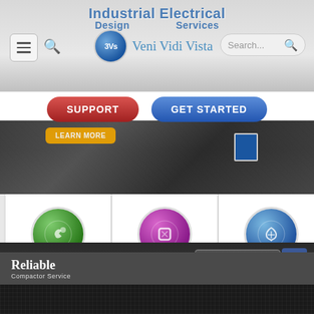[Figure (screenshot): Website screenshot showing Industrial Electrical Design Services header with 3Vs Veni Vidi Vista logo, navigation bar with hamburger menu and search, SUPPORT and GET STARTED buttons, hero image of industrial electrical equipment, cards for Commercial, Industrial, Health Care services with circular icons and READ MORE buttons, footer with phone number 810 673 3430, REQUEST SERVICE button, Reliable Compactor Service logo, and navigation links HOME, ABOUT US, SERVICES, CONTACT US]